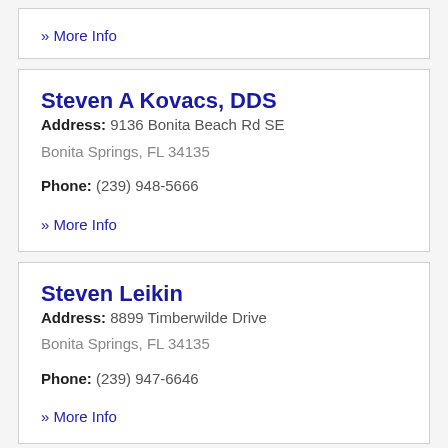» More Info
Steven A Kovacs, DDS
Address: 9136 Bonita Beach Rd SE
Bonita Springs, FL 34135
Phone: (239) 948-5666
» More Info
Steven Leikin
Address: 8899 Timberwilde Drive
Bonita Springs, FL 34135
Phone: (239) 947-6646
» More Info